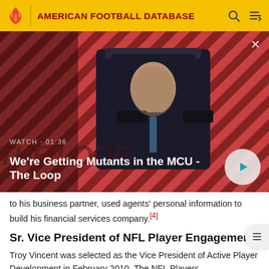AMERICAN FOOTBALL DATABASE
[Figure (screenshot): Video thumbnail showing a bald man in a dark suit seated in a chair, against a red diagonal stripe background with 'THE LOOP' watermark. Label reads 'WATCH · 01:36' with title 'We're Getting Mutants in the MCU - The Loop' and a play button.]
to his business partner, used agents' personal information to build his financial services company.[4]
Sr. Vice President of NFL Player Engagement
Troy Vincent was selected as the Vice President of Active Player Development in February 2010. The NFL Players